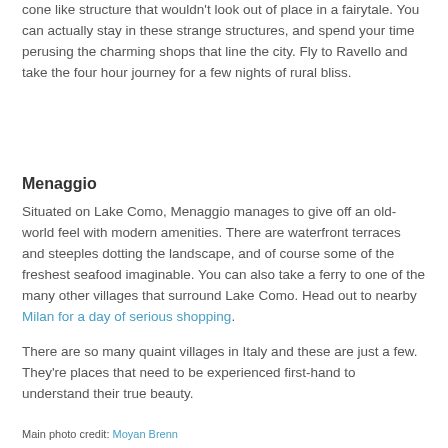cone like structure that wouldn't look out of place in a fairytale. You can actually stay in these strange structures, and spend your time perusing the charming shops that line the city. Fly to Ravello and take the four hour journey for a few nights of rural bliss.
Menaggio
Situated on Lake Como, Menaggio manages to give off an old-world feel with modern amenities. There are waterfront terraces and steeples dotting the landscape, and of course some of the freshest seafood imaginable. You can also take a ferry to one of the many other villages that surround Lake Como. Head out to nearby Milan for a day of serious shopping.
There are so many quaint villages in Italy and these are just a few. They're places that need to be experienced first-hand to understand their true beauty.
Main photo credit: Moyan Brenn